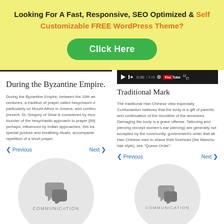Looking For A Fast, Responsive, SEO Optimized & Self Customizable FREE WordPress Theme?
[Figure (other): Green rounded button labeled 'Click Here']
During the Byzantine Empire.
During the Byzantine Empire, between the 10th an centuries, a tradition of prayer called hesychasm d particularly on Mount Athos in Greece, and continu present. St. Gregory of Sinai is considered by mos founder of the hesychastic approach to prayer [89] perhaps, influenced by Indian approaches, this tra special posture and breathing rituals, accompanie repetition of a short prayer.
Previous   Next
[Figure (illustration): Gray speech bubble / communication icon inside a light gray circle with label COMMUNICATION]
[Figure (screenshot): Video player bar showing time 0:00 / 5:20 and YouTube logo]
Traditional Mark
The traditional Han Chinese view especially Confucianism believes that the body is a gift of parents and continuation of the bloodline of the ancestors. Damaging the body is a grave offense. Tattooing and piercing (except women's ear piercing) are generally not accepted by the community. government's order that all Han Chinese men to shave their forehead (the Manchu hair style), see "Queue Order".
Previous   Next
[Figure (illustration): Gray speech bubble / communication icon inside a light gray circle with label COMMUNICATION]